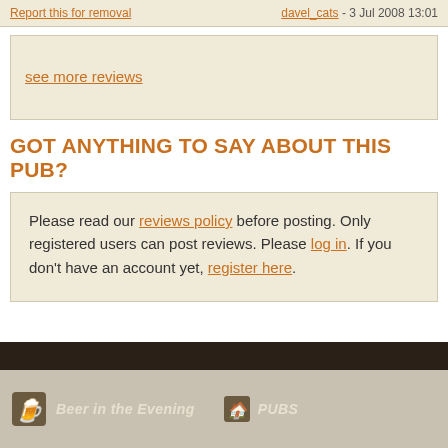Report this for removal | davel_cats - 3 Jul 2008 13:01
see more reviews
GOT ANYTHING TO SAY ABOUT THIS PUB?
Please read our reviews policy before posting. Only registered users can post reviews. Please log in. If you don't have an account yet, register here.
Beer in the Evening | PUBS